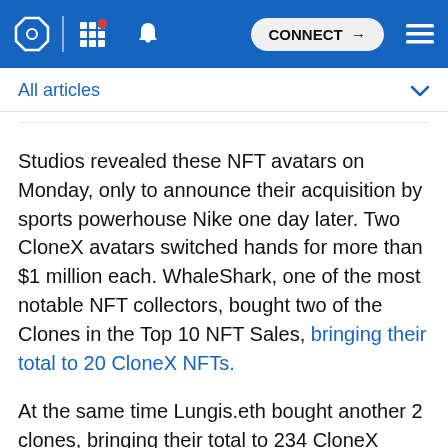CONNECT (navigation bar with logo, grid, bell, connect button, menu)
All articles
Studios revealed these NFT avatars on Monday, only to announce their acquisition by sports powerhouse Nike one day later. Two CloneX avatars switched hands for more than $1 million each. WhaleShark, one of the most notable NFT collectors, bought two of the Clones in the Top 10 NFT Sales, bringing their total to 20 CloneX NFTs.
At the same time Lungis.eth bought another 2 clones, bringing their total to 234 CloneX NFTs. In addition, they still have 190 mintvials, establishing themselves as one of the biggest CloneX whales on